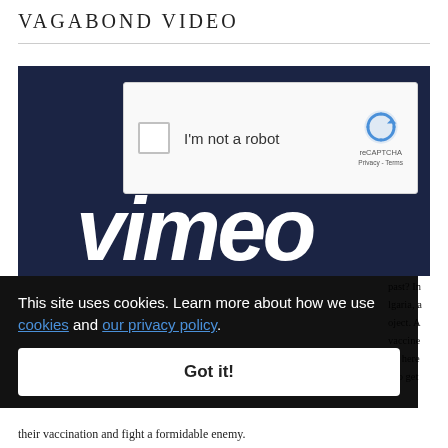VAGABOND VIDEO
[Figure (screenshot): Vimeo video player showing reCAPTCHA 'I'm not a robot' checkbox overlay on a dark navy background, with the Vimeo logo visible below in white text.]
This site uses cookies. Learn more about how we use cookies and our privacy policy. Got it!
past? In lgaria, a oject. A vaccine lm here s to get
their vaccination and fight a formidable enemy.